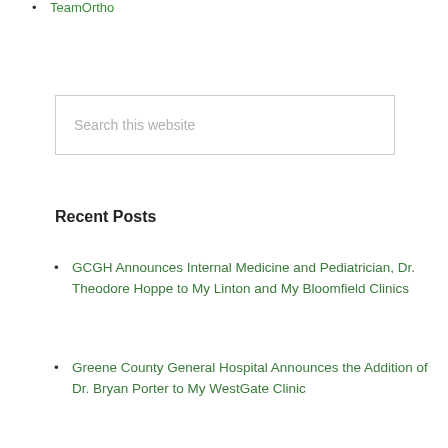TeamOrtho
Search this website
Recent Posts
GCGH Announces Internal Medicine and Pediatrician, Dr. Theodore Hoppe to My Linton and My Bloomfield Clinics
Greene County General Hospital Announces the Addition of Dr. Bryan Porter to My WestGate Clinic